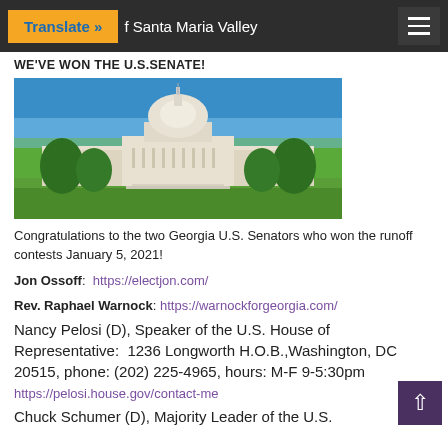Translate » ... of Santa Maria Valley
WE'VE WON THE U.S. SENATE!
[Figure (photo): Photograph of the United States Capitol building with blue sky background and green lawn in foreground]
Congratulations to the two Georgia U.S. Senators who won the runoff contests January 5, 2021!
Jon Ossoff:  https://electjon.com/
Rev. Raphael Warnock: https://warnockforgeorgia.com/
Nancy Pelosi (D), Speaker of the U.S. House of Representative:  1236 Longworth H.O.B.,Washington, DC 20515, phone: (202) 225-4965, hours: M-F 9-5:30pm
https://pelosi.house.gov/contact-me
Chuck Schumer (D), Majority Leader of the U.S.